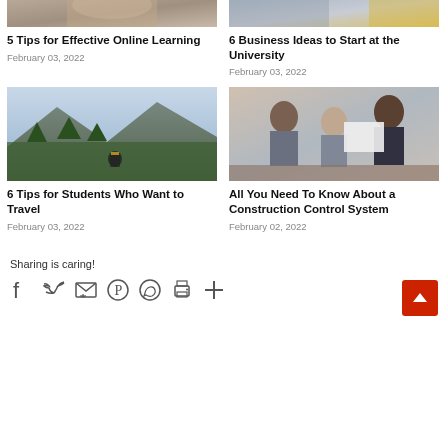[Figure (photo): Partial top image - person hands on laptop or desk, cropped at top]
5 Tips for Effective Online Learning
February 03, 2022
[Figure (photo): Partial top image - laptop and person in yellow shirt, cropped at top]
6 Business Ideas to Start at the University
February 03, 2022
[Figure (photo): Hiker with yellow backpack walking toward mountain valley with green trees]
6 Tips for Students Who Want to Travel
February 03, 2022
[Figure (photo): Group of three students reviewing paper documents at a table]
All You Need To Know About a Construction Control System
February 02, 2022
Sharing is caring!